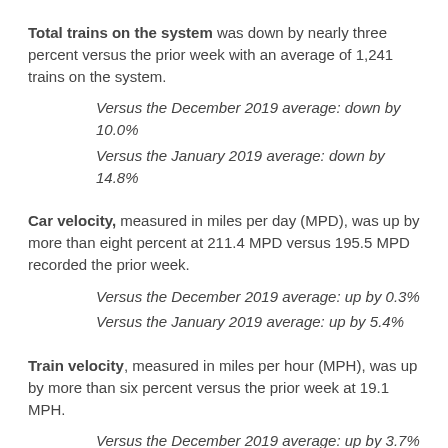Total trains on the system was down by nearly three percent versus the prior week with an average of 1,241 trains on the system.
Versus the December 2019 average: down by 10.0%
Versus the January 2019 average: down by 14.8%
Car velocity, measured in miles per day (MPD), was up by more than eight percent at 211.4 MPD versus 195.5 MPD recorded the prior week.
Versus the December 2019 average: up by 0.3%
Versus the January 2019 average: up by 5.4%
Train velocity, measured in miles per hour (MPH), was up by more than six percent versus the prior week at 19.1 MPH.
Versus the December 2019 average: up by 3.7%